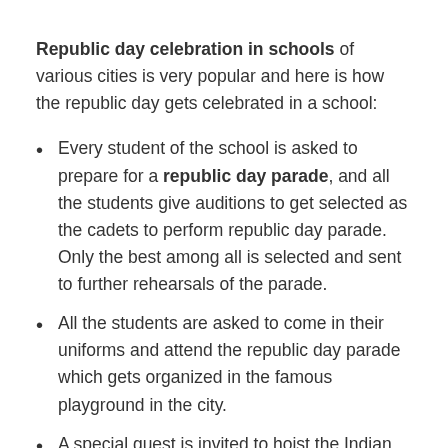Republic day celebration in schools of various cities is very popular and here is how the republic day gets celebrated in a school:
Every student of the school is asked to prepare for a republic day parade, and all the students give auditions to get selected as the cadets to perform republic day parade. Only the best among all is selected and sent to further rehearsals of the parade.
All the students are asked to come in their uniforms and attend the republic day parade which gets organized in the famous playground in the city.
A special guest is invited to hoist the Indian National Flag, and most of the times this special